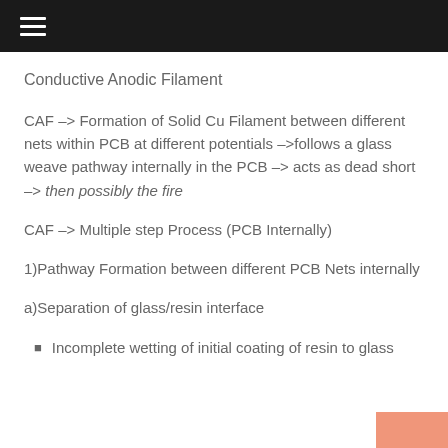Conductive Anodic Filament
CAF -> Formation of Solid Cu Filament between different nets within PCB at different potentials – >follows a glass weave pathway internally in the PCB – > acts as dead short -> then possibly the fire
CAF -> Multiple step Process (PCB Internally)
1)Pathway Formation between different PCB Nets internally
a)Separation of glass/resin interface
Incomplete wetting of initial coating of resin to glass